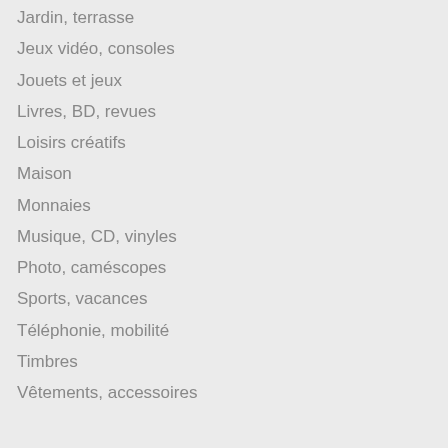Jardin, terrasse
Jeux vidéo, consoles
Jouets et jeux
Livres, BD, revues
Loisirs créatifs
Maison
Monnaies
Musique, CD, vinyles
Photo, caméscopes
Sports, vacances
Téléphonie, mobilité
Timbres
Vêtements, accessoires